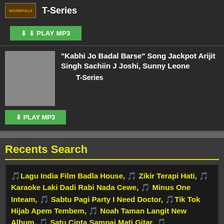[Figure (other): Song thumbnail image for Housefull 4 with T-Series label and PLAY MP3 button]
T-Series
PLAY MP3
[Figure (other): Gray thumbnail placeholder for Kabhi Jo Badal Barse song]
"Kabhi Jo Badal Barse" Song Jackpot Arijit Singh Sachiin J Joshi, Sunny Leone
T-Series
PLAY MP3
Recents Search
🎵Lagu India Film Badla House, 🎵 Zikir Terapi Hati, 🎵 Karaoke Laki Dadi Rabi Nada Cewe, 🎵 Minus One Inteam, 🎵 Sabtu Pagi Party I Need Doctor, 🎵Tik Tok Hijab Apem Tembem, 🎵 Noah Taman Langit New Album, 🎵 Satu Cinta Sampai Mati Gitar, 🎵 Tawangmangu, 🎵 Chica Koeswoyo Pr Cinta Aneka Ria Safari Music Video Cl, 🎵 Judika Tidak Baik Baik Sa, 🎵 Dj Alvin Kho Funky Hard Pujasera, 🎵 Xnxx